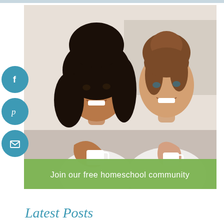[Figure (photo): Two women smiling and holding white coffee mugs, sitting together in a bright kitchen setting. Both wearing white tops. A green banner overlay at the bottom reads 'Join our free homeschool community'. Social media buttons (Facebook, Pinterest, Email) appear on the left side.]
Join our free homeschool community
Latest Posts